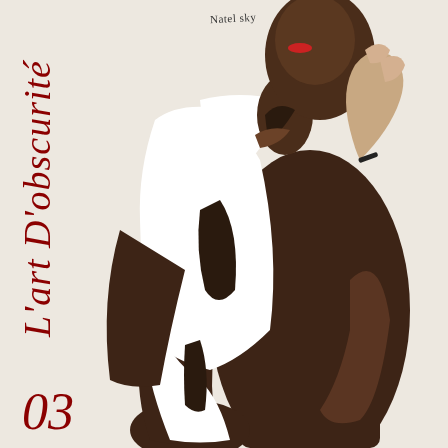Natel sky
[Figure (photo): Fashion photograph of a dark-skinned woman posed sideways wearing a white top, hand raised near her chin, against a light beige background. The composition emphasizes the contrast of skin tones and a minimal white garment.]
L'art D'obscurité
03